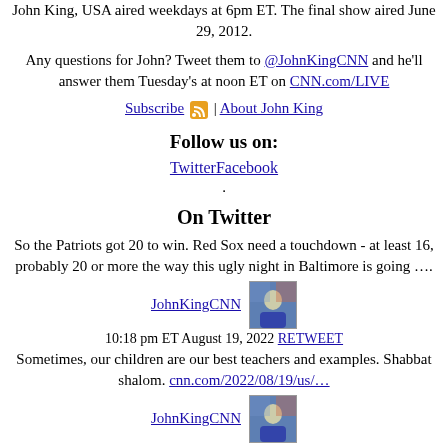John King, USA aired weekdays at 6pm ET. The final show aired June 29, 2012.
Any questions for John? Tweet them to @JohnKingCNN and he'll answer them Tuesday's at noon ET on CNN.com/LIVE
Subscribe | About John King
Follow us on:
TwitterFacebook
.
On Twitter
So the Patriots got 20 to win. Red Sox need a touchdown - at least 16, probably 20 or more the way this ugly night in Baltimore is going ….
JohnKingCNN
10:18 pm ET August 19, 2022 RETWEET
Sometimes, our children are our best teachers and examples. Shabbat shalom. cnn.com/2022/08/19/us/…
JohnKingCNN